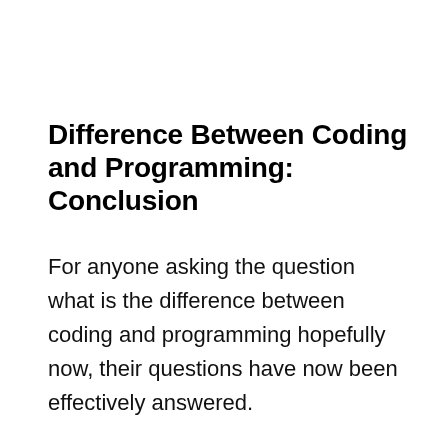Difference Between Coding and Programming: Conclusion
For anyone asking the question what is the difference between coding and programming hopefully now, their questions have now been effectively answered.